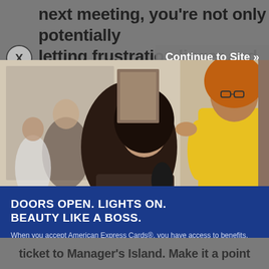next meeting, you're not only potentially letting frustration linger and spread, but you're also limiting your ability
Continue to Site »
[Figure (photo): A hairstylist in a yellow top using a hair dryer on a client with dark hair in a salon. A woman is visible in the mirror in the background.]
DOORS OPEN. LIGHTS ON. BEAUTY LIKE A BOSS.
When you accept American Express Cards®, you have access to benefits, signage, and materials to help your business thrive.
Learn More
[Figure (logo): American Express logo — blue square with AMERICAN EXPRESS text in white]
ticket to Manager's Island. Make it a point